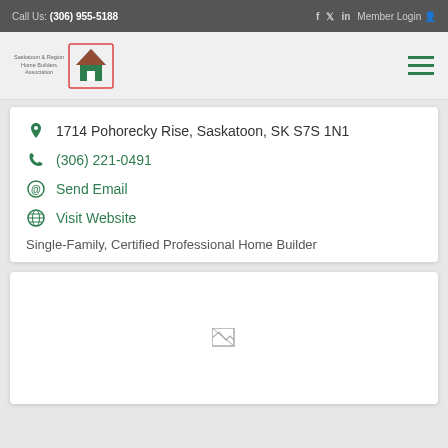Call Us: (306) 955-5188   f  tw  in  Member Login
[Figure (logo): Saskatoon & Region Home Builders Association logo with maple leaf icon]
1714 Pohorecky Rise, Saskatoon, SK S7S 1N1
(306) 221-0491
Send Email
Visit Website
Single-Family, Certified Professional Home Builder
[Figure (photo): Broken/missing image placeholder in white card]